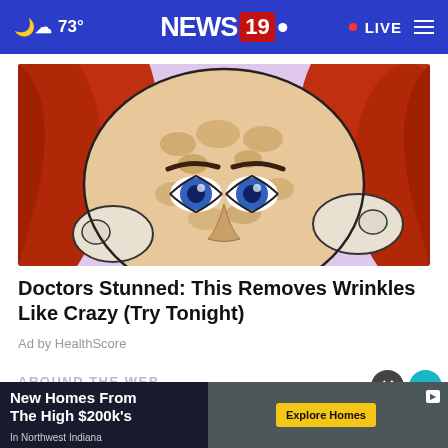73° NEWS 19 • LIVE
[Figure (illustration): Illustrated close-up of a woman's face with red hair, blue eyes, and skin blemishes/pigmentation spots, peeking over something with hands near face. Purple/pink background.]
Doctors Stunned: This Removes Wrinkles Like Crazy (Try Tonight)
Ad by HealthScore
AROUND THE WEB
[Figure (illustration): Bottom banner advertisement: New Homes From The High $200k's In Northwest Indiana — Explore Homes button. Interior kitchen image on right.]